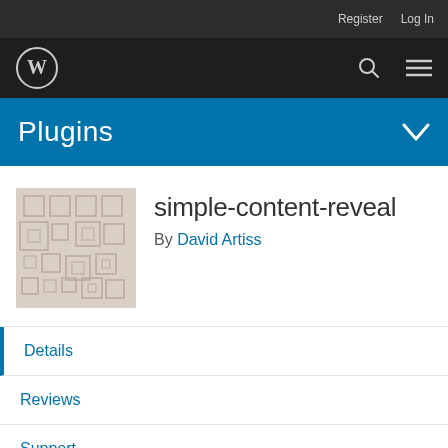Register   Log In
[Figure (logo): WordPress logo (W in circle) on dark navigation bar with search and menu icons]
Plugins
[Figure (illustration): Plugin thumbnail image with geometric square pattern on beige/tan background]
simple-content-reveal
By David Artiss
Details
Reviews
Support
Development